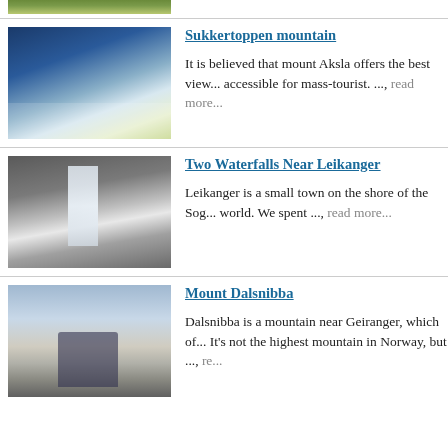[Figure (photo): Partial top image showing green fields/landscape]
[Figure (photo): Aerial view of Ålesund city and fjord from Sukkertoppen/Aksla mountain]
Sukkertoppen mountain
It is believed that mount Aksla offers the best view... accessible for mass-tourist. ..., read more...
[Figure (photo): Waterfall cascading down rocky cliff near Leikanger]
Two Waterfalls Near Leikanger
Leikanger is a small town on the shore of the Sog... world. We spent ..., read more...
[Figure (photo): Two people holding Norwegian flag on Mount Dalsnibba]
Mount Dalsnibba
Dalsnibba is a mountain near Geiranger, which of... It's not the highest mountain in Norway, but ..., read more...